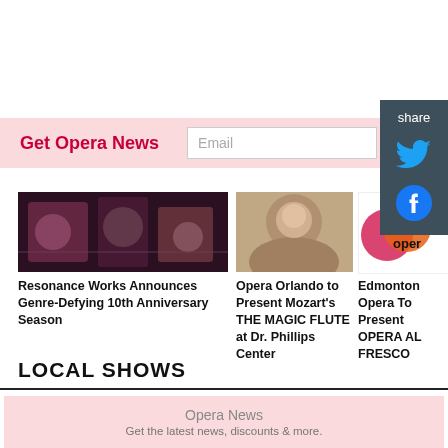Get Opera News
Email
Go
share
[Figure (photo): Dark theatrical performance photo for Resonance Works]
Resonance Works Announces Genre-Defying 10th Anniversary Season
[Figure (photo): Portrait photo of a woman for Opera Orlando]
Opera Orlando to Present Mozart's THE MAGIC FLUTE at Dr. Phillips Center
[Figure (logo): Edmonton Opera logo with overlapping circles in red and orange]
Edmonton Opera To Present OPERA AL FRESCO
LOCAL SHOWS
Opera News
Get the latest news, discounts & more.